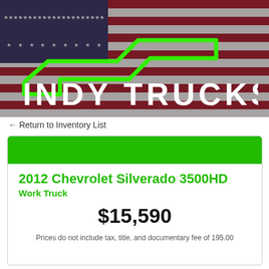[Figure (logo): Indy Trucks logo with American flag background and green Chevrolet bowtie outline]
← Return to Inventory List
2012 Chevrolet Silverado 3500HD
Work Truck
$15,590
Prices do not include tax, title, and documentary fee of 195.00